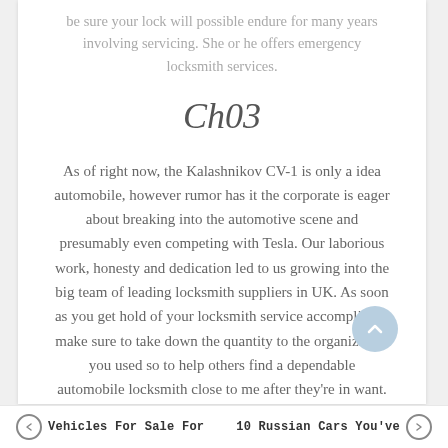be sure your lock will possible endure for many years involving servicing. She or he offers emergency locksmith services.
Ch03
As of right now, the Kalashnikov CV-1 is only a idea automobile, however rumor has it the corporate is eager about breaking into the automotive scene and presumably even competing with Tesla. Our laborious work, honesty and dedication led to us growing into the big team of leading locksmith suppliers in UK. As soon as you get hold of your locksmith service accomplished make sure to take down the quantity to the organization you used so to help others find a dependable automobile locksmith close to me after they're in want.
Vehicles For Sale For | 10 Russian Cars You've